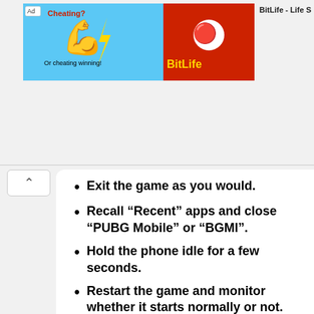[Figure (screenshot): Ad banner for BitLife - Life simulator game, showing cheating/winning themed images with blue and red background]
Exit the game as you would.
Recall “Recent” apps and close “PUBG Mobile” or “BGMI”.
Hold the phone idle for a few seconds.
Restart the game and monitor whether it starts normally or not. Proceed if it doesn’t work.
Verify your Internet speed
If you have ever played BGMI or PUBG Mobile